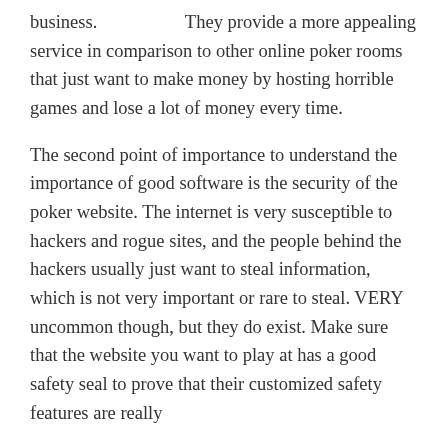business.                   They provide a more appealing service in comparison to other online poker rooms that just want to make money by hosting horrible games and lose a lot of money every time.
The second point of importance to understand the importance of good software is the security of the poker website. The internet is very susceptible to hackers and rogue sites, and the people behind the hackers usually just want to steal information, which is not very important or rare to steal. VERY uncommon though, but they do exist. Make sure that the website you want to play at has a good safety seal to prove that their customized safety features are really